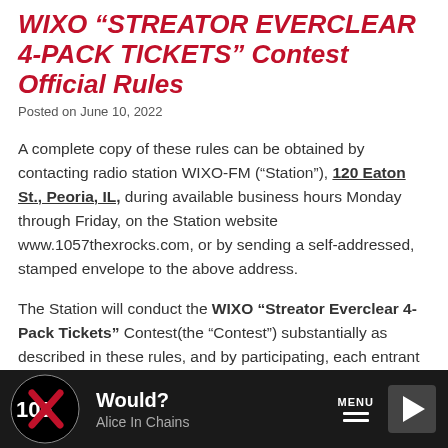WIXO “STREATOR EVERCLEAR 4-PACK TICKETS” Contest Official Rules
Posted on June 10, 2022
A complete copy of these rules can be obtained by contacting radio station WIXO-FM (“Station”), 120 Eaton St., Peoria, IL, during available business hours Monday through Friday, on the Station website www.1057thexrocks.com, or by sending a self-addressed, stamped envelope to the above address.
The Station will conduct the WIXO “Streator Everclear 4-Pack Tickets” Contest(the “Contest”) substantially as described in these rules, and by participating, each entrant agrees as follows:
[Figure (other): Radio station 105 X logo with media player bar showing song 'Would?' by Alice In Chains and MENU button]